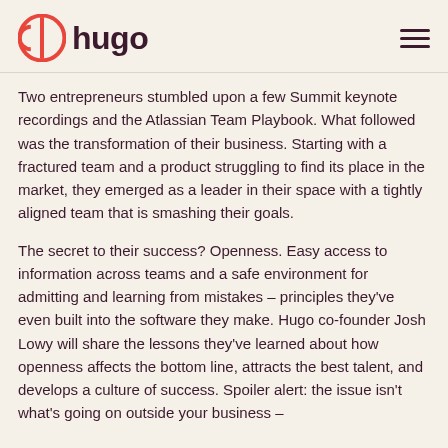hugo
Two entrepreneurs stumbled upon a few Summit keynote recordings and the Atlassian Team Playbook. What followed was the transformation of their business. Starting with a fractured team and a product struggling to find its place in the market, they emerged as a leader in their space with a tightly aligned team that is smashing their goals.
The secret to their success? Openness. Easy access to information across teams and a safe environment for admitting and learning from mistakes – principles they've even built into the software they make. Hugo co-founder Josh Lowy will share the lessons they've learned about how openness affects the bottom line, attracts the best talent, and develops a culture of success. Spoiler alert: the issue isn't what's going on outside your business –